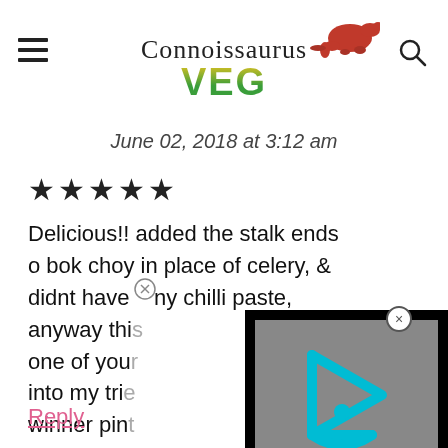Connoissaurus VEG
June 02, 2018 at 3:12 am
★★★★★
Delicious!! added the stalk ends o bok choy in place of celery, & didnt have any chilli paste, anyway thi one of you into my trie winner pint
[Figure (screenshot): Video player overlay with cyan/teal triangular play button icon on grey background with black border]
Reply